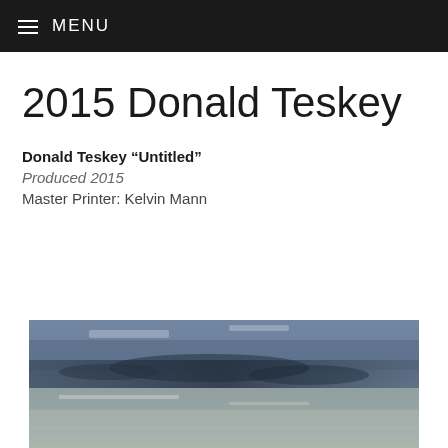MENU
2015 Donald Teskey
Donald Teskey “Untitled”
Produced 2015
Master Printer: Kelvin Mann
[Figure (photo): Abstract painting by Donald Teskey, predominantly blue and grey tones with textured landscape-like horizontal composition]